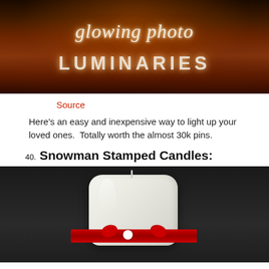[Figure (photo): Dark background photo with candle/autumn theme, overlaid with handwritten-style text 'glowing photo' and bold 'LUMINARIES' text in glowing white lettering]
Source
Here’s an easy and inexpensive way to light up your loved ones.  Totally worth the almost 30k pins.
40. Snowman Stamped Candles:
[Figure (photo): White pillar candle with a red ribbon/bow wrapped around it, photographed against a dark/black background]